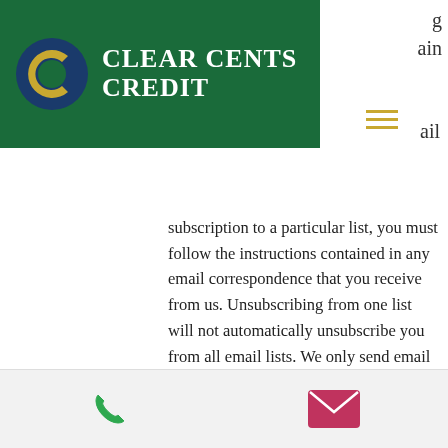[Figure (logo): Clear Cents Credit logo — green rounded rectangle header with circular C logo and white text 'Clear Cents Credit']
subscription to a particular list, you must follow the instructions contained in any email correspondence that you receive from us. Unsubscribing from one list will not automatically unsubscribe you from all email lists. We only send email marketing to individuals that have agreed, whether by visiting this Website or through third party websites, to receive email marketing from us. We do not send unsolicited bulk email. As a result,
[Figure (infographic): Footer bar with phone icon (green) on left and email/envelope icon (pink/magenta) on right]